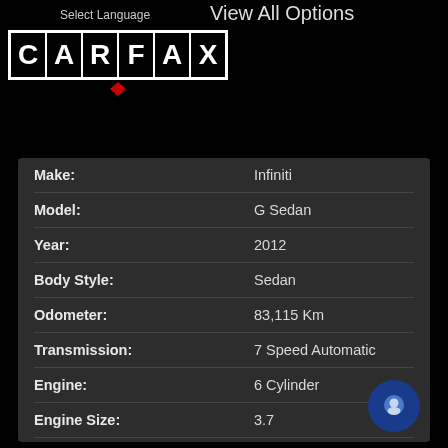Select Language
View All Options
[Figure (logo): CARFAX logo with white block letters on black background with border, and a small red diamond shape below]
| Field | Value |
| --- | --- |
| Make: | Infiniti |
| Model: | G Sedan |
| Year: | 2012 |
| Body Style: | Sedan |
| Odometer: | 83,115 Km |
| Transmission: | 7 Speed Automatic |
| Engine: | 6 Cylinder |
| Engine Size: | 3.7 |
| Driveline: | AWD |
| Exterior Color: | Black |